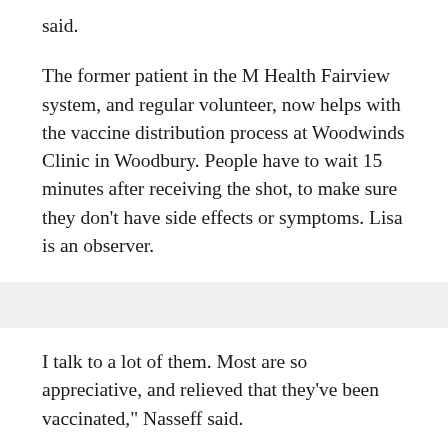said.
The former patient in the M Health Fairview system, and regular volunteer, now helps with the vaccine distribution process at Woodwinds Clinic in Woodbury. People have to wait 15 minutes after receiving the shot, to make sure they don't have side effects or symptoms. Lisa is an observer.
I talk to a lot of them. Most are so appreciative, and relieved that they've been vaccinated," Nasseff said.
Malay Thao, manager at Woodwinds Clinic, says volunteers allow our healthcare heroes to continue normal operations while taking on this critical